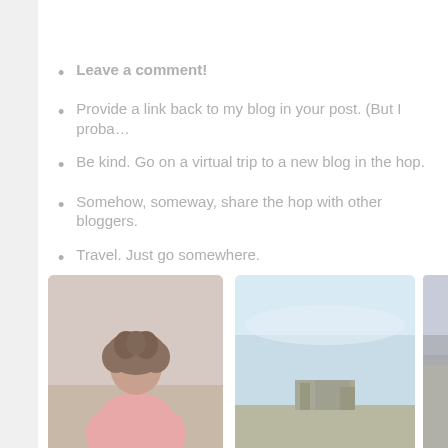Leave a comment!
Provide a link back to my blog in your post. (But I proba…
Be kind. Go on a virtual trip to a new blog in the hop.
Somehow, someway, share the hop with other bloggers.
Travel. Just go somewhere.
[Figure (photo): Photo of a person viewed from behind wearing pink, with curly hair]
Visit link
1. Janu-Rice: Part 3
[Figure (photo): Landscape photo showing open plains under a blue sky with a structure in the distance]
Visit link
2. Exploring the Chateau de Mores in Medora, North Dakota